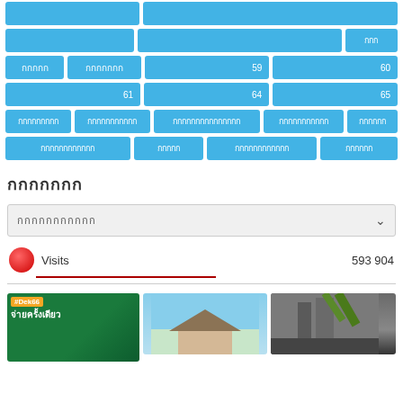tag row 1: two blue tags
tag row 2: two blue tags + small tag
tag row 3: tags with numbers 59, 60
tag row 4: tags with numbers 61, 64, 65
tag row 5: five text tags
tag row 6: four text tags
กกกกกกก
กกกกกกกกกกก (dropdown)
Visits   593 904
[Figure (photo): Three thumbnail images: #Dek66 green promotional image, sky/building image, dark building image]